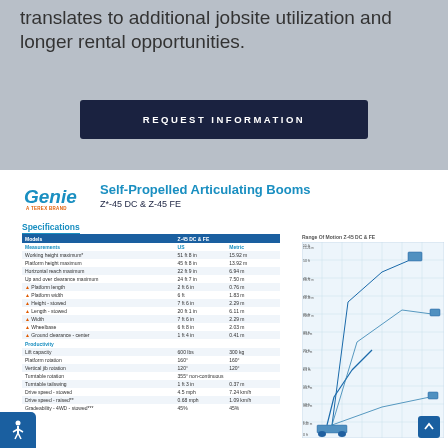translates to additional jobsite utilization and longer rental opportunities.
REQUEST INFORMATION
Self-Propelled Articulating Booms Z*-45 DC & Z-45 FE
Specifications
| Models | Z-45 DC & FE |  |  |
| --- | --- | --- | --- |
| Measurements | US | Metric |  |
| Working height maximum* | 51 ft 8 in | 15.92 m |  |
| Platform height maximum | 45 ft 8 in | 13.92 m |  |
| Horizontal reach maximum | 22 ft 9 in | 6.94 m |  |
| Up and over clearance maximum | 24 ft 7 in | 7.50 m |  |
| Platform length | 2 ft 6 in | 0.76 m |  |
| Platform width | 6 ft | 1.83 m |  |
| Height - stowed | 7 ft 6 in | 2.29 m |  |
| Length - stowed | 20 ft 1 in | 6.11 m |  |
| Width | 7 ft 6 in | 2.29 m |  |
| Wheelbase | 6 ft 8 in | 2.03 m |  |
| Ground clearance - center | 1 ft 4 in | 0.41 m |  |
| Productivity |  |  |  |
| Lift capacity | 600 lbs | 300 kg |  |
| Platform rotation | 160° | 160° |  |
| Vertical jib rotation | 120° | 120° |  |
| Turntable rotation | 355° non-continuous |  |  |
| Turntable tailswing | 1 ft 3 in | 0.37 m |  |
| Drive speed - stowed | 4.5 mph | 7.24 km/h |  |
| Drive speed - raised** | 0.68 mph | 1.09 km/h |  |
| Gradeability - 4WD - stowed*** | 45% | 45% |  |
[Figure (engineering-diagram): Range of Motion diagram for Z-45 DC & FE articulating boom lift showing multiple boom positions at various heights from ground level to maximum reach, with gridlines and height measurements on y-axis]